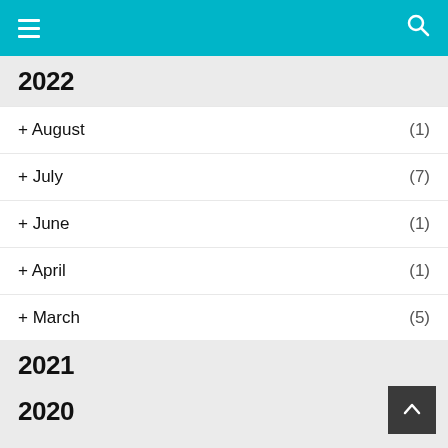Navigation bar with hamburger menu and search icon
2022
+ August (1)
+ July (7)
+ June (1)
+ April (1)
+ March (5)
+ February (1)
+ January (5)
2021
2020
2019
2018